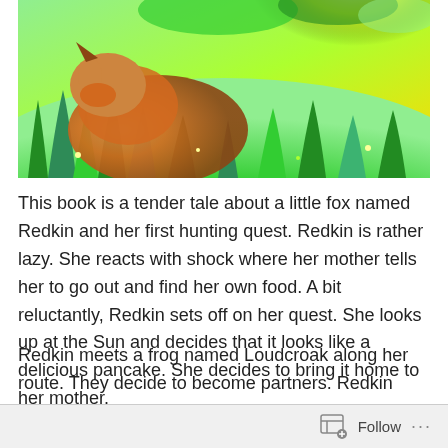[Figure (illustration): Illustration of a fox scene with green grass, orange fox fur, and bright natural background colors including yellows and greens]
This book is a tender tale about a little fox named Redkin and her first hunting quest. Redkin is rather lazy. She reacts with shock where her mother tells her to go out and find her own food. A bit reluctantly, Redkin sets off on her quest. She looks up at the Sun and decides that it looks like a delicious pancake. She decides to bring it home to her mother.
Redkin meets a frog named Loudcroak along her route. They decide to become partners. Redkin remains fearful but Loudcroak provides the courage and inspiration to continue their search. Other animals offer advice, but the
Follow ···